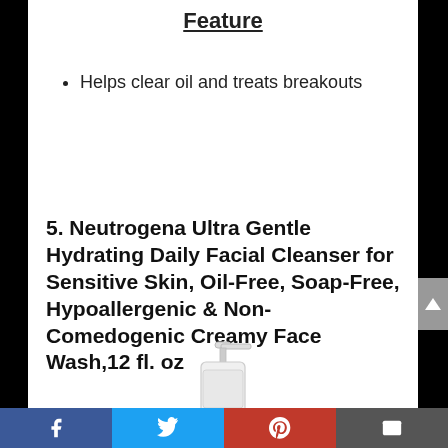Feature
Helps clear oil and treats breakouts
5. Neutrogena Ultra Gentle Hydrating Daily Facial Cleanser for Sensitive Skin, Oil-Free, Soap-Free, Hypoallergenic & Non-Comedogenic Creamy Face Wash,12 fl. oz
[Figure (illustration): Partial view of a Neutrogena pump bottle (white/transparent) with pump dispenser at top]
Social share bar with Facebook, Twitter, Pinterest, Email icons